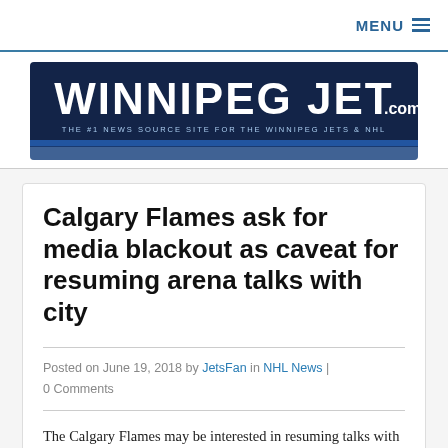MENU
[Figure (logo): WinnipegJet.com logo banner — white bold text on dark navy blue background with 'WINNIPEG JET.com' and subtitle 'THE #1 NEWS SOURCE SITE FOR THE WINNIPEG JETS & NHL']
Calgary Flames ask for media blackout as caveat for resuming arena talks with city
Posted on June 19, 2018 by JetsFan in NHL News | 0 Comments
The Calgary Flames may be interested in resuming talks with the city...